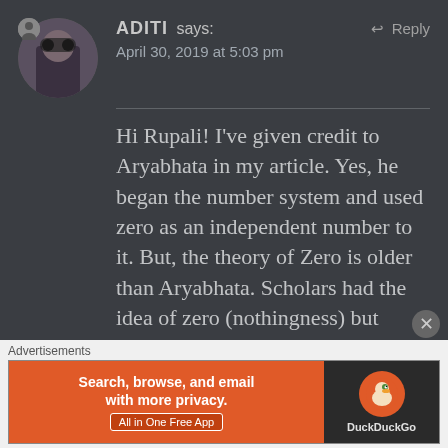ADITI says: April 30, 2019 at 5:03 pm ↩ Reply
Hi Rupali! I've given credit to Aryabhata in my article. Yes, he began the number system and used zero as an independent number to it. But, the theory of Zero is older than Aryabhata. Scholars had the idea of zero (nothingness) but couldn't give it a place because nothing means nothing:)
[Figure (screenshot): Advertisement banner: DuckDuckGo - Search, browse, and email with more privacy. All in One Free App. Orange left panel with text, dark right panel with DuckDuckGo duck logo.]